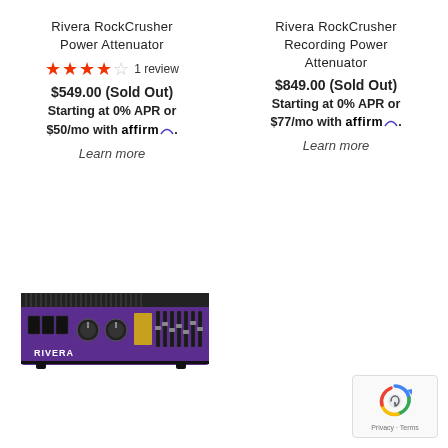Rivera RockCrusher Power Attenuator
★★★★☆ 1 review
$549.00 (Sold Out)
Starting at 0% APR or $50/mo with affirm. Learn more
Rivera RockCrusher Recording Power Attenuator
$849.00 (Sold Out)
Starting at 0% APR or $77/mo with affirm. Learn more
[Figure (photo): Rivera RockCrusher Recording Power Attenuator product photo - purple/black guitar amp attenuator unit]
[Figure (logo): Google reCAPTCHA badge with Privacy and Terms links]